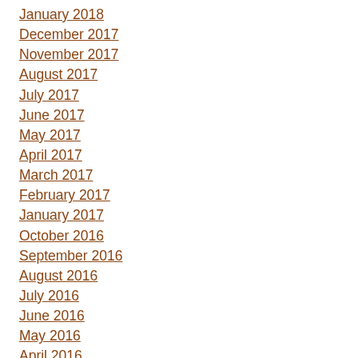January 2018
December 2017
November 2017
August 2017
July 2017
June 2017
May 2017
April 2017
March 2017
February 2017
January 2017
October 2016
September 2016
August 2016
July 2016
June 2016
May 2016
April 2016
March 2016